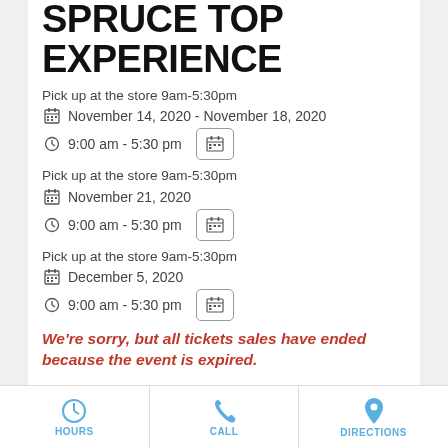SPRUCE TOP EXPERIENCE
Pick up at the store 9am-5:30pm
November 14, 2020 - November 18, 2020
9:00 am - 5:30 pm
Pick up at the store 9am-5:30pm
November 21, 2020
9:00 am - 5:30 pm
Pick up at the store 9am-5:30pm
December 5, 2020
9:00 am - 5:30 pm
We're sorry, but all tickets sales have ended because the event is expired.
View Details
Bringing the workshop experience home! Watch Geri's demonstration, and create in the comfort of your
HOURS   CALL   DIRECTIONS